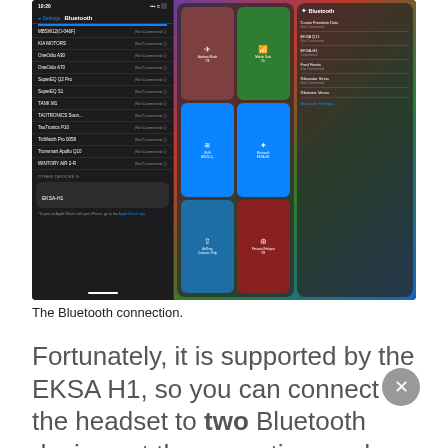[Figure (screenshot): Screenshot showing iOS Bluetooth settings panel (left) with a list of devices all marked 'Not Connected' and one 'EKSA-H1' under Other Devices, alongside two iOS Control Center panels (center and right) showing connectivity toggles and a Bluetooth device list including Couini Freedom Dots, EKSA Q11, EKSA-H1 (Connected), Ford Fiesta, Glavastar Sirius, Glamstar Venus, and a Bluetooth Settings link.]
The Bluetooth connection.
Fortunately, it is supported by the EKSA H1, so you can connect the headset to two Bluetooth devices at the same time and switch between them easily.